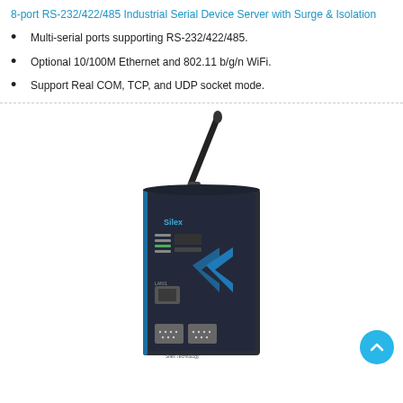8-port RS-232/422/485 Industrial Serial Device Server with Surge & Isolation
Multi-serial ports supporting RS-232/422/485.
Optional 10/100M Ethernet and 802.11 b/g/n WiFi.
Support Real COM, TCP, and UDP socket mode.
[Figure (photo): Photo of an 8-port RS-232/422/485 Industrial Serial Device Server unit with a WiFi antenna on top, Ethernet port and serial ports visible, dark blue/black enclosure with Silex branding.]